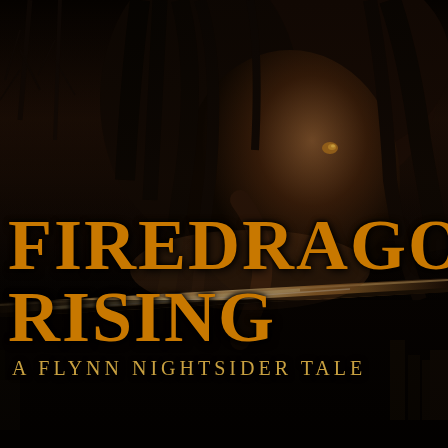[Figure (illustration): Dark atmospheric book cover image. A woman with long dark hair and glowing amber eyes is shown in close-up, looking downward. She holds a sword/blade that reflects light. The background is dark with bare trees visible. Sepia/dark brown color palette with dramatic lighting.]
FIREDRAGON RISING
A FLYNN NIGHTSIDER TALE